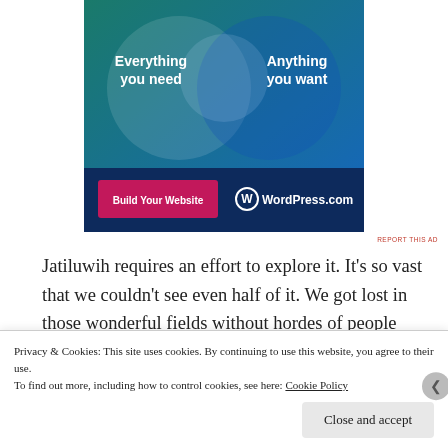[Figure (illustration): WordPress.com advertisement banner with two overlapping circles on a teal-to-blue gradient background. Left circle area says 'Everything you need', right says 'Anything you want'. Bottom bar has a pink 'Build Your Website' button and WordPress.com logo.]
REPORT THIS AD
Jatiluwih requires an effort to explore it. It’s so vast that we couldn’t see even half of it. We got lost in those wonderful fields without hordes of people crowding us or ruining the scenery.
Privacy & Cookies: This site uses cookies. By continuing to use this website, you agree to their use.
To find out more, including how to control cookies, see here: Cookie Policy
Close and accept